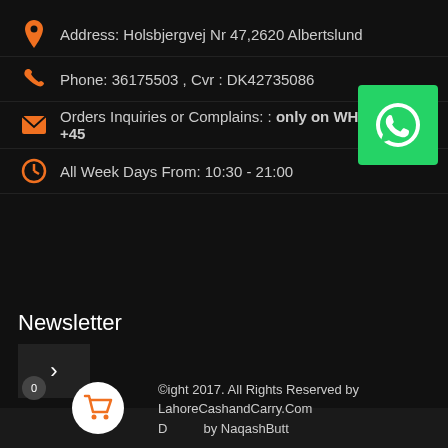Address: Holsbjergvej Nr 47,2620 Albertslund
Phone: 36175503 , Cvr : DK42735086
Orders Inquiries or Complains: : only on WHATSAPP +45
All Week Days From: 10:30 - 21:00
Newsletter
*
Subscribe!
Copyright 2017. All Rights Reserved by LahoreCashandCarry.Com Designed by NaqashButt